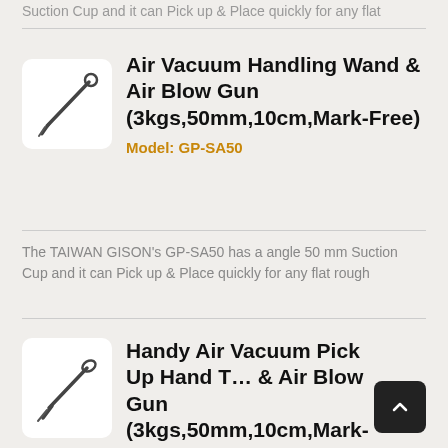Suction Cup and it can Pick up & Place quickly for any flat
[Figure (photo): Air vacuum wand tool product image on white rounded-corner card]
Air Vacuum Handling Wand & Air Blow Gun (3kgs,50mm,10cm,Mark-Free)
Model: GP-SA50
The TAIWAN GISON's GP-SA50 has a angle 50 mm Suction Cup and it can Pick up & Place quickly for any flat rough
[Figure (photo): Handy air vacuum pick up hand tool product image on white rounded-corner card]
Handy Air Vacuum Pick Up Hand T… & Air Blow Gun (3kgs,50mm,10cm,Mark-Free)